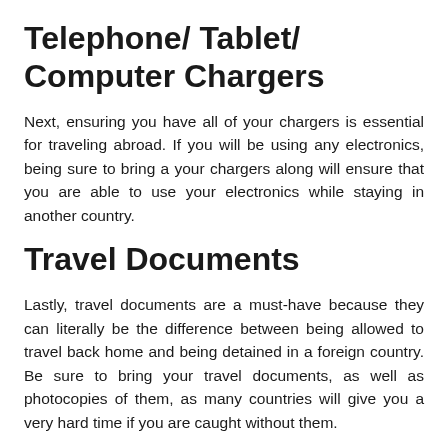Telephone/ Tablet/ Computer Chargers
Next, ensuring you have all of your chargers is essential for traveling abroad. If you will be using any electronics, being sure to bring a your chargers along will ensure that you are able to use your electronics while staying in another country.
Travel Documents
Lastly, travel documents are a must-have because they can literally be the difference between being allowed to travel back home and being detained in a foreign country. Be sure to bring your travel documents, as well as photocopies of them, as many countries will give you a very hard time if you are caught without them.
Overall, traveling abroad for spring break can be an experience of a lifetime. Be sure to keep these must-haves